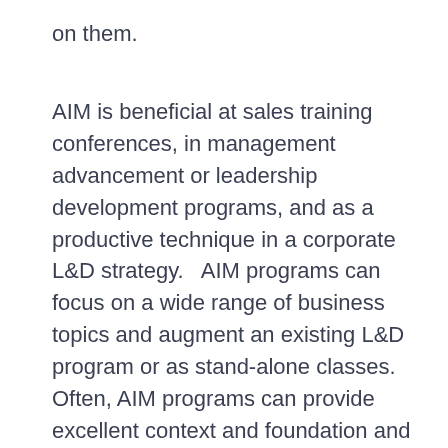on them.
AIM is beneficial at sales training conferences, in management advancement or leadership development programs, and as a productive technique in a corporate L&D strategy.   AIM programs can focus on a wide range of business topics and augment an existing L&D program or as stand-alone classes. Often, AIM programs can provide excellent context and foundation and insight for complex management challenges and lead to firm certifications.